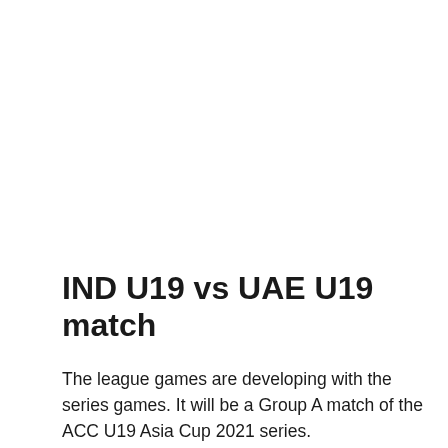IND U19 vs UAE U19 match
The league games are developing with the series games. It will be a Group A match of the ACC U19 Asia Cup 2021 series.
The matches will take place at the ICC